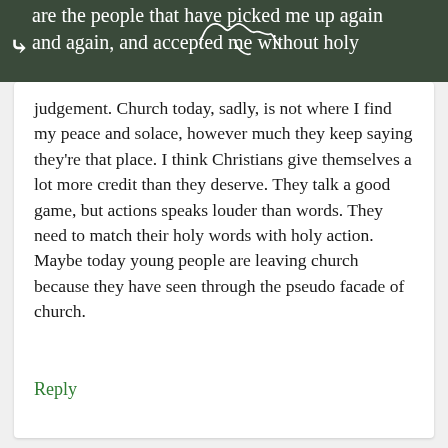are the people that have picked me up again and again, and accepted me without holy
judgement. Church today, sadly, is not where I find my peace and solace, however much they keep saying they're that place. I think Christians give themselves a lot more credit than they deserve. They talk a good game, but actions speaks louder than words. They need to match their holy words with holy action. Maybe today young people are leaving church because they have seen through the pseudo facade of church.
Reply